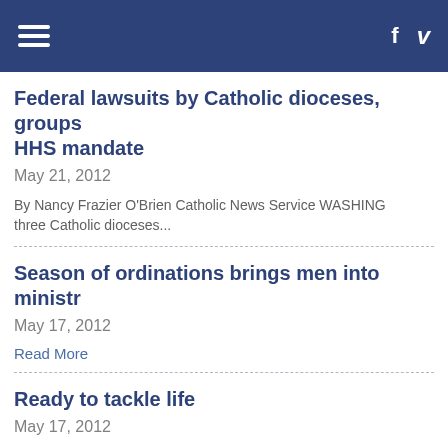Navigation bar with hamburger menu, f and v icons
Federal lawsuits by Catholic dioceses, groups HHS mandate
May 21, 2012
By Nancy Frazier O'Brien Catholic News Service WASHING three Catholic dioceses...
Season of ordinations brings men into ministr
May 17, 2012
Read More
Ready to tackle life
May 17, 2012
By Patricia O'Connell CFP Correspondent WORCESTER - B football coach at the Univers